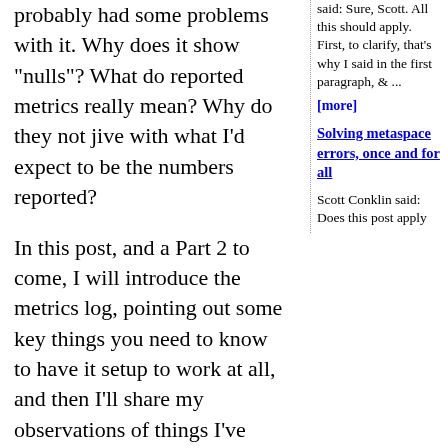probably had some problems with it. Why does it show "nulls"? What do reported metrics really mean? Why do they not jive with what I'd expect to be the numbers reported?
In this post, and a Part 2 to come, I will introduce the metrics log, pointing out some key things you need to know to have it setup to work at all, and then I'll share my observations of things I've come to understand about the reported metrics.
[....Continue Reading....]
Comments (10)
said: Sure, Scott. All this should apply. First, to clarify, that's why I said in the first paragraph, & ...
[more]
Solving metaspace errors, once and for all
Scott Conklin said: Does this post apply